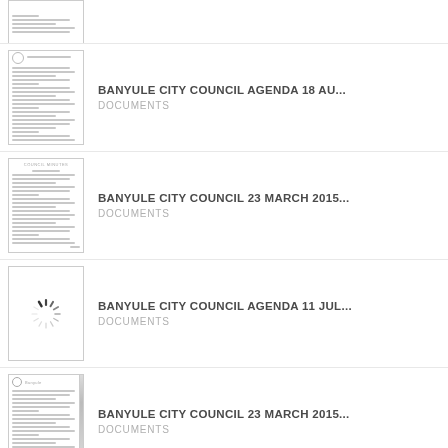BANYULE CITY COUNCIL AGENDA 18 AU... — DOCUMENTS
BANYULE CITY COUNCIL 23 MARCH 2015... — DOCUMENTS
BANYULE CITY COUNCIL AGENDA 11 JUL... — DOCUMENTS
BANYULE CITY COUNCIL 23 MARCH 2015... — DOCUMENTS
BANYULE CITY COUNCIL 23 MARCH 2015... — DOCUMENTS